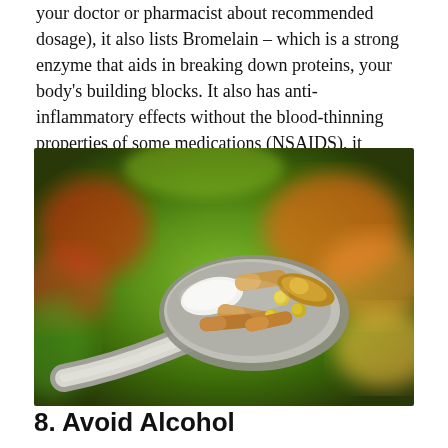your doctor or pharmacist about recommended dosage), it also lists Bromelain – which is a strong enzyme that aids in breaking down proteins, your body's building blocks. It also has anti-inflammatory effects without the blood-thinning properties of some medications (NSAIDS), it explains.
[Figure (photo): A spoon holding various dietary supplement capsules, pills, and gelcaps (white, tan/brown, yellow, and gold colored) against a blurred colorful background of fruits and vegetables.]
8. Avoid Alcohol